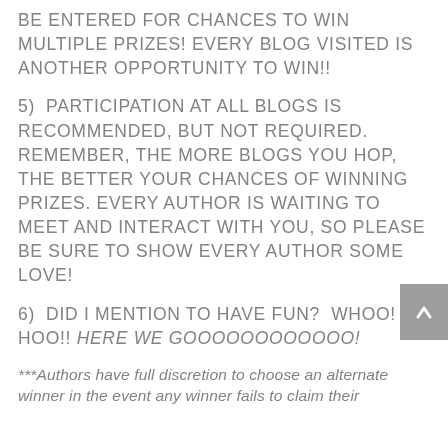BE ENTERED FOR CHANCES TO WIN MULTIPLE PRIZES! EVERY BLOG VISITED IS ANOTHER OPPORTUNITY TO WIN!!
5)  PARTICIPATION AT ALL BLOGS IS RECOMMENDED, BUT NOT REQUIRED. REMEMBER, THE MORE BLOGS YOU HOP, THE BETTER YOUR CHANCES OF WINNING PRIZES. EVERY AUTHOR IS WAITING TO MEET AND INTERACT WITH YOU, SO PLEASE BE SURE TO SHOW EVERY AUTHOR SOME LOVE!
6)  DID I MENTION TO HAVE FUN?  WHOO! HOO!! HERE WE GOOOOOOOOOOOO!
***Authors have full discretion to choose an alternate winner in the event any winner fails to claim their